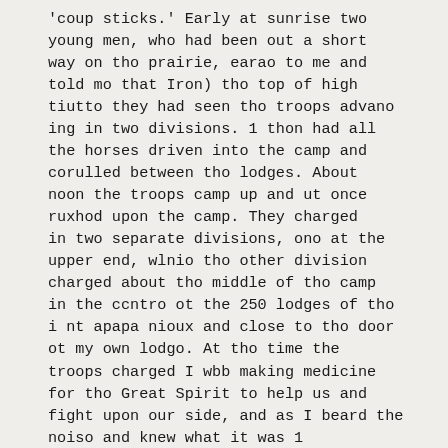'coup sticks.' Early at sunrise two young men, who had been out a short way on tho prairie, earao to me and told mo that Iron) tho top of high tiutto they had seen tho troops advano ing in two divisions. 1 thon had all the horses driven into the camp and corulled between tho lodges. About noon the troops camp up and ut once ruxhod upon the camp. They charged in two separate divisions, ono at the upper end, wlnio tho other division charged about tho middle of tho camp in the ccntro ot the 250 lodges of tho i nt apapa nioux and close to tho door ot my own lodgo. At tho time the troops charged I wbb making medicine for tho Great Spirit to help us and fight upon our side, and as I beard the noiso and knew what it was 1 camo out. Whon I had got to the out side of my lodgo I noticed that this division had stopped suddenly close to tho outer sidoof Uncapapa camp, and